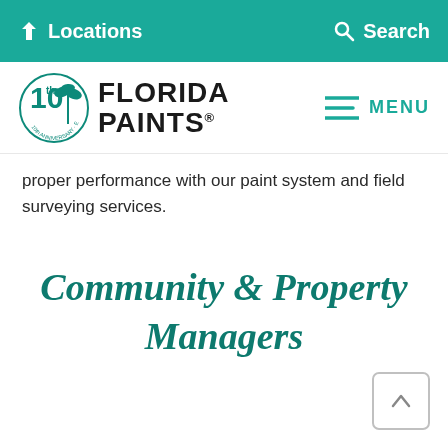Locations   Search
[Figure (logo): Florida Paints 10th Anniversary logo with palm tree badge and bold black text reading FLORIDA PAINTS]
proper performance with our paint system and field surveying services.
Community & Property Managers